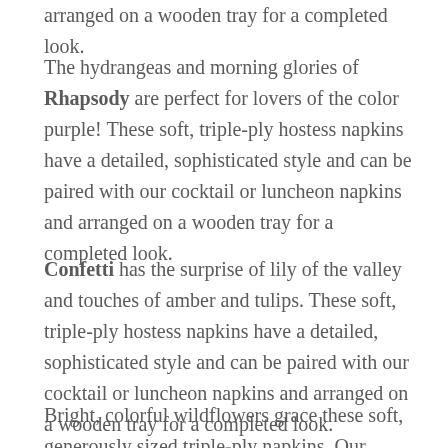arranged on a wooden tray for a completed look.
The hydrangeas and morning glories of Rhapsody are perfect for lovers of the color purple! These soft, triple-ply hostess napkins have a detailed, sophisticated style and can be paired with our cocktail or luncheon napkins and arranged on a wooden tray for a completed look.
Confetti has the surprise of lily of the valley and touches of amber and tulips. These soft, triple-ply hostess napkins have a detailed, sophisticated style and can be paired with our cocktail or luncheon napkins and arranged on a wooden tray for a completed look.
Bright, colorful wildflowers grace these soft, generously sized triple-ply napkins. Our Meadow